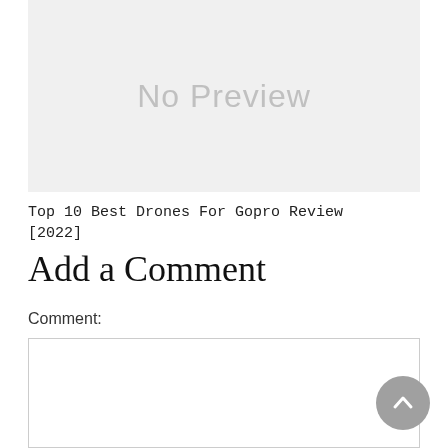[Figure (other): No Preview placeholder image — a light grey rectangle with the text 'No Preview' in grey]
Top 10 Best Drones For Gopro Review [2022]
Add a Comment
Comment:
[Figure (other): Comment text area input box — a white rectangle with a thin grey border]